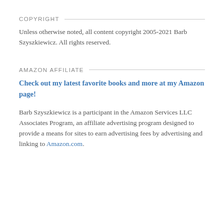COPYRIGHT
Unless otherwise noted, all content copyright 2005-2021 Barb Szyszkiewicz. All rights reserved.
AMAZON AFFILIATE
Check out my latest favorite books and more at my Amazon page!
Barb Szyszkiewicz is a participant in the Amazon Services LLC Associates Program, an affiliate advertising program designed to provide a means for sites to earn advertising fees by advertising and linking to Amazon.com.